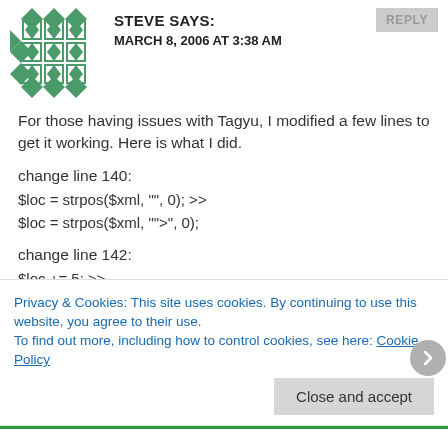[Figure (illustration): Avatar/gravatar image — green geometric quilt pattern on white background]
STEVE SAYS:
MARCH 8, 2006 AT 3:38 AM
REPLY
For those having issues with Tagyu, I modified a few lines to get it working. Here is what I did.
change line 140:
$loc = strpos($xml, "", 0); >>
$loc = strpos($xml, "">", 0);
change line 142:
$loc += 5; >>
$loc += 2;
change line 148:
$loc = strpos($xml, "", $end); >>
Privacy & Cookies: This site uses cookies. By continuing to use this website, you agree to their use.
To find out more, including how to control cookies, see here: Cookie Policy
Close and accept